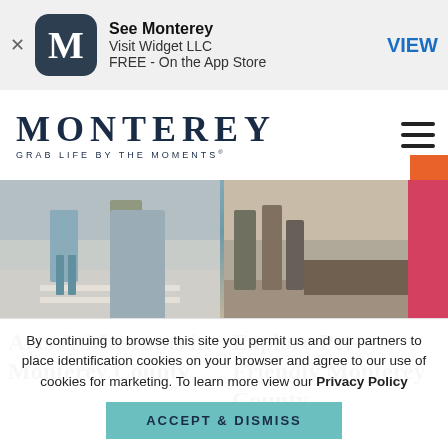[Figure (screenshot): App store banner for 'See Monterey' by Visit Widget LLC, FREE on the App Store, with VIEW button]
[Figure (logo): Monterey logo with text 'MONTEREY GRAB LIFE BY THE MOMENTS' and hamburger menu icon]
[Figure (photo): Two photos side by side: left shows people walking on a street (Arts & Museums in Monterey County), right shows people and pink structure (Explore Pet-Friendly Monterey County)]
Arts & Museums in Monterey County
Explore Pet-Friendly Monterey County
By continuing to browse this site you permit us and our partners to place identification cookies on your browser and agree to our use of cookies for marketing. To learn more view our Privacy Policy
ACCEPT & DISMISS